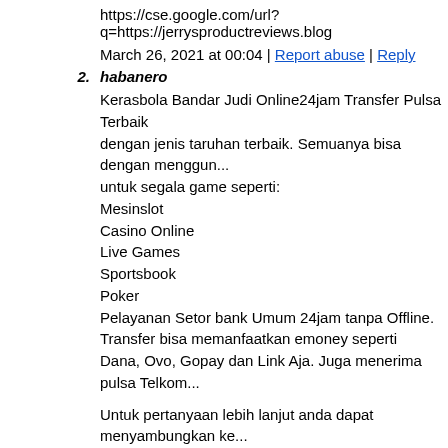https://cse.google.com/url?q=https://jerrysproductreviews.blog
March 26, 2021 at 00:04 | Report abuse | Reply
2. habanero
Kerasbola Bandar Judi Online24jam Transfer Pulsa Terbaik dengan jenis taruhan terbaik. Semuanya bisa dengan menggun... untuk segala game seperti:
Mesinslot
Casino Online
Live Games
Sportsbook
Poker
Pelayanan Setor bank Umum 24jam tanpa Offline.
Transfer bisa memanfaatkan emoney seperti
Dana, Ovo, Gopay dan Link Aja. Juga menerima pulsa Telkom...
Untuk pertanyaan lebih lanjut anda dapat menyambungkan ke... di bawah ini:
Whatsapp: +855 17 437 282
Line: kerasbola88
Link main: agenhoki1.com
March 26, 2021 at 16:25 | Report abuse | Reply
3. BrfgMile